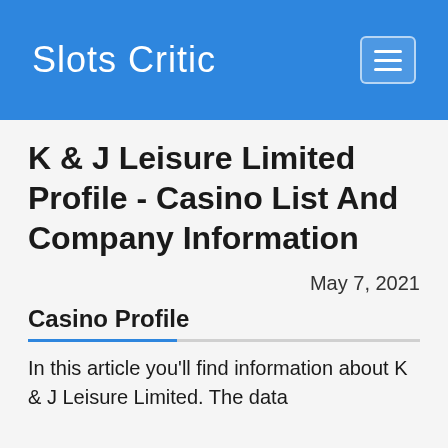Slots Critic
K & J Leisure Limited Profile - Casino List And Company Information
May 7, 2021
Casino Profile
In this article you'll find information about K & J Leisure Limited. The data